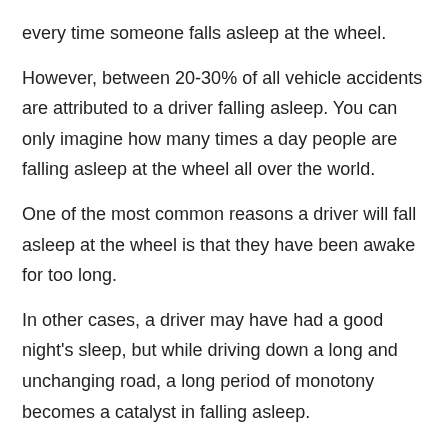every time someone falls asleep at the wheel.
However, between 20-30% of all vehicle accidents are attributed to a driver falling asleep. You can only imagine how many times a day people are falling asleep at the wheel all over the world.
One of the most common reasons a driver will fall asleep at the wheel is that they have been awake for too long.
In other cases, a driver may have had a good night's sleep, but while driving down a long and unchanging road, a long period of monotony becomes a catalyst in falling asleep.
There are two mechanisms at play in your brain that determine if you are likely to fall asleep at the wheel.